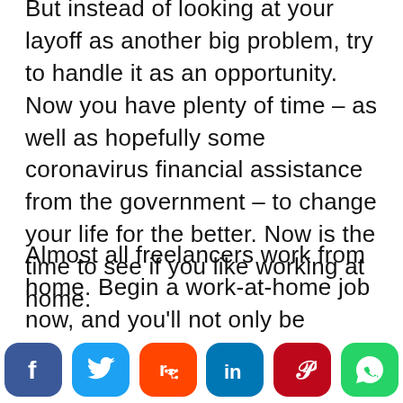But instead of looking at your layoff as another big problem, try to handle it as an opportunity. Now you have plenty of time – as well as hopefully some coronavirus financial assistance from the government – to change your life for the better. Now is the time to see if you like working at home.
Almost all freelancers work from home. Begin a work-at-home job now, and you'll not only be helping yourself out financially at the current time – you'll be laying the foundation for a better future as well.
Here are 55 work-at-home ideas that you can…
[Figure (infographic): Social sharing bar with buttons for Facebook (blue), Twitter (light blue), Reddit (orange), LinkedIn (dark blue), Pinterest (red), WhatsApp (green)]